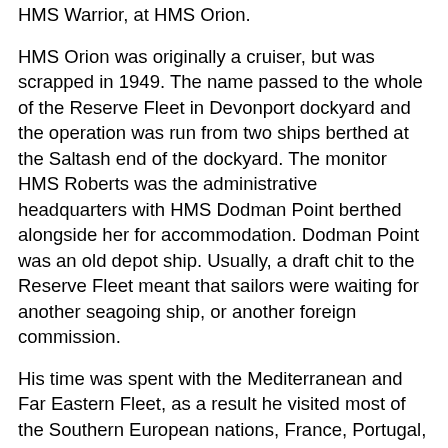HMS Warrior, at HMS Orion.
HMS Orion was originally a cruiser, but was scrapped in 1949. The name passed to the whole of the Reserve Fleet in Devonport dockyard and the operation was run from two ships berthed at the Saltash end of the dockyard. The monitor HMS Roberts was the administrative headquarters with HMS Dodman Point berthed alongside her for accommodation. Dodman Point was an old depot ship. Usually, a draft chit to the Reserve Fleet meant that sailors were waiting for another seagoing ship, or another foreign commission.
His time was spent with the Mediterranean and Far Eastern Fleet, as a result he visited most of the Southern European nations, France, Portugal, Spain, Italy, Sicily, Germany and Austria, the countries along the Adriatic coast - obviously not Yugoslavia (it was communist) but Greece, Crete and Malta. Through the Suez Canal to Egypt and Saudi Arabia. Around the Indian Ocean to Pakistan and India, Ceylon (Sri Lankra) and Thailand. Into the Pacific and the